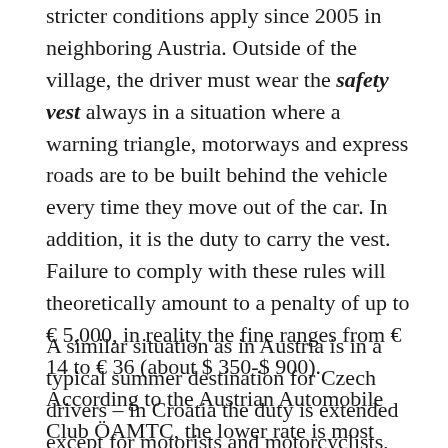stricter conditions apply since 2005 in neighboring Austria. Outside of the village, the driver must wear the safety vest always in a situation where a warning triangle, motorways and express roads are to be built behind the vehicle every time they move out of the car. In addition, it is the duty to carry the vest. Failure to comply with these rules will theoretically amount to a penalty of up to € 5,000, in reality the fine ranges from € 14 to € 36 (about $ 350-$ 900). According to the Austrian Automobile Club ÖAMTC, the lower rate is most often levied.
A similar situation as in Austria is in a typical summer destination for Czech drivers – in Croatia the duty is extended except for motorists and motorcyclists, but for violation, there is no sanction at present. In the Czech Republic, according to